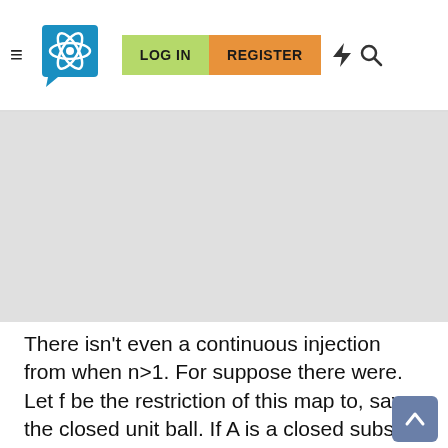LOG IN  REGISTER
[Figure (other): Gray advertisement/banner placeholder area]
There isn't even a continuous injection from when n>1. For suppose there were. Let f be the restriction of this map to, say, the closed unit ball. If A is a closed subset of the closed unit ball, then A is compact, so f(A) is compact and therefore closed. Hence f is a closed map